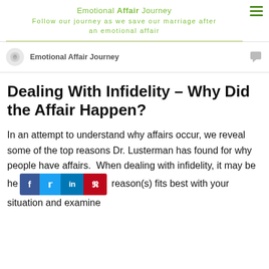Emotional Affair Journey
Follow our journey as we save our marriage after an emotional affair
Emotional Affair Journey
Dealing With Infidelity – Why Did the Affair Happen?
In an attempt to understand why affairs occur, we reveal some of the top reasons Dr. Lusterman has found for why people have affairs. When dealing with infidelity, it may be he[lp to see which] reason(s) fits best with your situation and examine